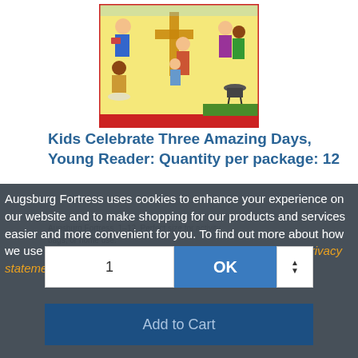[Figure (illustration): Book cover illustration showing children and adults in various activities including reading, cooking, and worship scenes with a cross in the background]
Kids Celebrate Three Amazing Days, Young Reader: Quantity per package: 12
Augsburg Fortress uses cookies to enhance your experience on our website and to make shopping for our products and services easier and more convenient for you. To find out more about how we use cookies to give you a better experience, see our privacy statement.
$7.99
1
OK
Add to Cart